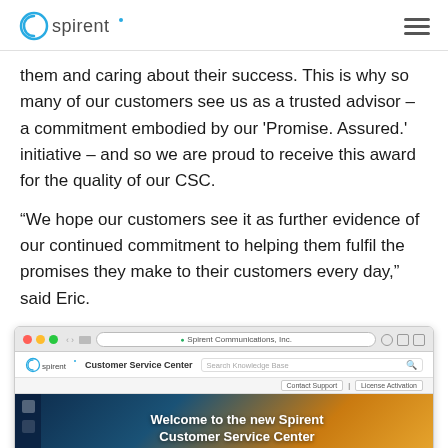Ospirent [logo] [hamburger menu]
them and caring about their success. This is why so many of our customers see us as a trusted advisor – a commitment embodied by our 'Promise. Assured.' initiative – and so we are proud to receive this award for the quality of our CSC.
“We hope our customers see it as further evidence of our continued commitment to helping them fulfil the promises they make to their customers every day,” said Eric.
[Figure (screenshot): Screenshot of the Spirent Customer Service Center website homepage in a browser window, showing the Ospirent logo, Customer Service Center navigation bar with search field, and a banner image with text 'Welcome to the new Spirent Customer Service Center']